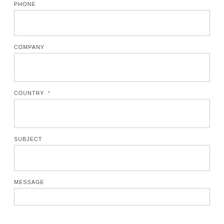PHONE
[Figure (other): Empty text input box for PHONE field]
COMPANY
[Figure (other): Empty text input box for COMPANY field]
COUNTRY *
[Figure (other): Empty text input box for COUNTRY field]
SUBJECT
[Figure (other): Empty text input box for SUBJECT field]
MESSAGE
[Figure (other): Empty text input box for MESSAGE field (partially visible)]